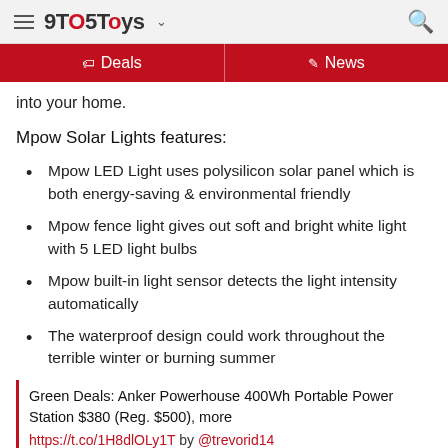9TO5Toys
Deals | News
into your home.
Mpow Solar Lights features:
Mpow LED Light uses polysilicon solar panel which is both energy-saving & environmental friendly
Mpow fence light gives out soft and bright white light with 5 LED light bulbs
Mpow built-in light sensor detects the light intensity automatically
The waterproof design could work throughout the terrible winter or burning summer
Green Deals: Anker Powerhouse 400Wh Portable Power Station $380 (Reg. $500), more
https://t.co/1H8dlOLy1T by @trevorid14